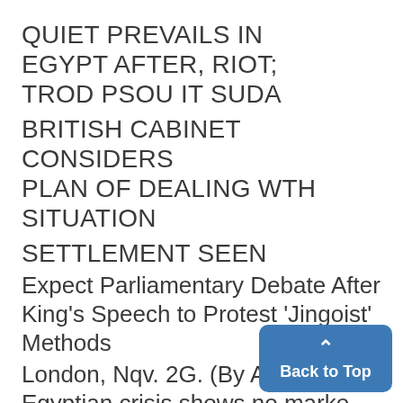QUIET PREVAILS IN EGYPT AFTER, RIOT; TROD PSOU IT SUDA
BRITISH CABINET CONSIDERS PLAN OF DEALING WTH SITUATION
SETTLEMENT SEEN
Expect Parliamentary Debate After King's Speech to Protest 'Jingoist' Methods
London, Nqv. 2G. (By A. P.)-The Egyptian crisis shows no marked developments today, Cairo and Alexandria remains quiet and even the mili-